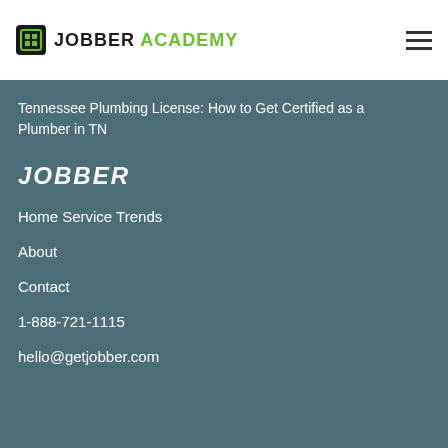[Figure (logo): Jobber Academy logo with icon and text]
Tennessee Plumbing License: How to Get Certified as a Plumber in TN
JOBBER
Home Service Trends
About
Contact
1-888-721-1115
hello@getjobber.com